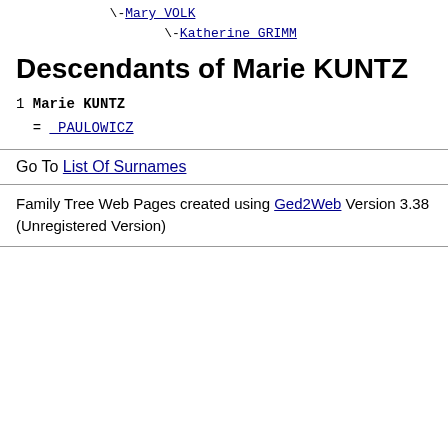\-Mary VOLK
        \-Katherine GRIMM
Descendants of Marie KUNTZ
1 Marie KUNTZ
  = _PAULOWICZ
Go To List Of Surnames
Family Tree Web Pages created using Ged2Web Version 3.38 (Unregistered Version)